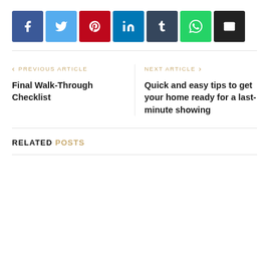[Figure (infographic): Social sharing buttons: Facebook (blue), Twitter (light blue), Pinterest (red), LinkedIn (dark blue), Tumblr (dark gray-blue), WhatsApp (green), Email (black)]
◄ PREVIOUS ARTICLE
Final Walk-Through Checklist
NEXT ARTICLE ►
Quick and easy tips to get your home ready for a last-minute showing
RELATED POSTS